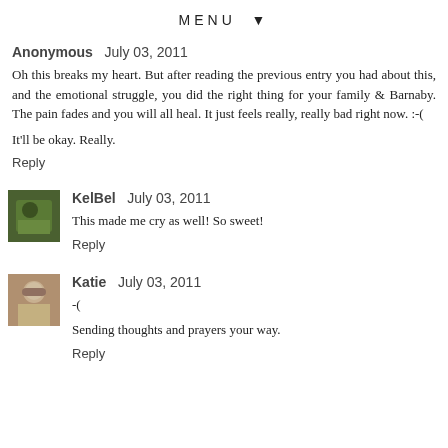MENU ▼
Anonymous  July 03, 2011
Oh this breaks my heart. But after reading the previous entry you had about this, and the emotional struggle, you did the right thing for your family & Barnaby. The pain fades and you will all heal. It just feels really, really bad right now. :-(
It'll be okay. Really.
Reply
KelBel  July 03, 2011
This made me cry as well! So sweet!
Reply
Katie  July 03, 2011
-(
Sending thoughts and prayers your way.
Reply